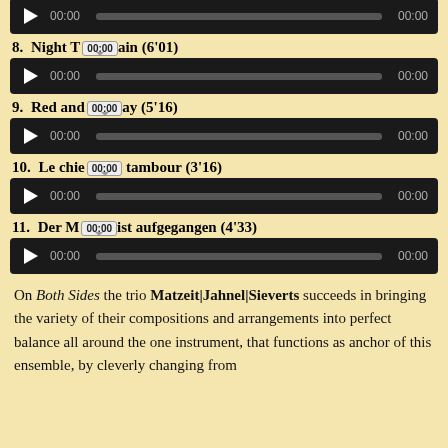[Figure (other): Audio player for a partially visible track at the top of the page, showing play button, 00:00 time, progress bar, and 00:00 end time]
8.  Night Train (6'01)
[Figure (other): Audio player for track 8 Night Train, showing play button, 00:00 time, progress bar with tooltip showing 00:00, and 00:00 end time]
9.  Red and Gray (5'16)
[Figure (other): Audio player for track 9 Red and Gray, showing play button, 00:00 time, progress bar with tooltip showing 00:00, and 00:00 end time]
10.  Le chien du tambour (3'16)
[Figure (other): Audio player for track 10 Le chien du tambour, showing play button, 00:00 time, progress bar with tooltip showing 00:00, and 00:00 end time]
11.  Der Mond ist aufgegangen (4'33)
[Figure (other): Audio player for track 11 Der Mond ist aufgegangen, showing play button, 00:00 time, progress bar with tooltip showing 00:00, and 00:00 end time]
On Both Sides the trio Matzeit|Jahnel|Sieverts succeeds in bringing the variety of their compositions and arrangements into perfect balance all around the one instrument, that functions as anchor of this ensemble, by cleverly changing from